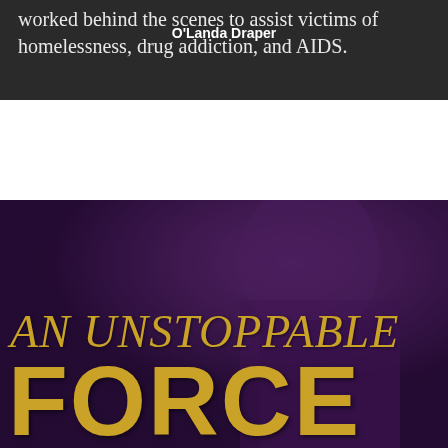worked behind the scenes to assist victims of homelessness, drug addiction, and AIDS.
O'Landa Draper
[Figure (photo): Book cover image with purple-tinted photo of a person in the background. Large gold text reads 'AN UNSTOPPABLE FORCE' overlaid on the image.]
AN UNSTOPPABLE FORCE